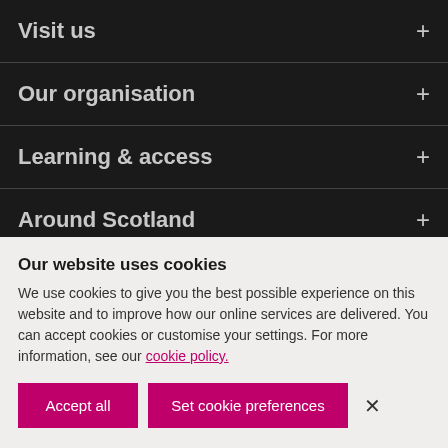Visit us +
Our organisation +
Learning & access +
Around Scotland +
Our website uses cookies
We use cookies to give you the best possible experience on this website and to improve how our online services are delivered. You can accept cookies or customise your settings. For more information, see our cookie policy.
Accept all | Set cookie preferences | ×